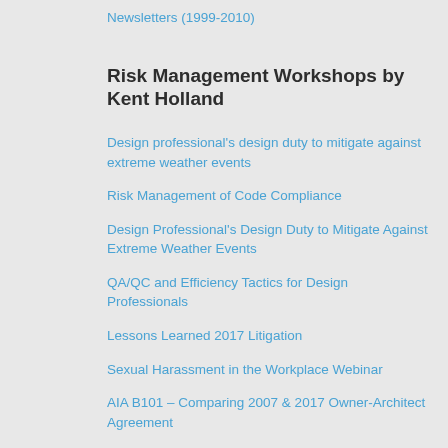Newsletters (1999-2010)
Risk Management Workshops by Kent Holland
Design professional's design duty to mitigate against extreme weather events
Risk Management of Code Compliance
Design Professional's Design Duty to Mitigate Against Extreme Weather Events
QA/QC and Efficiency Tactics for Design Professionals
Lessons Learned 2017 Litigation
Sexual Harassment in the Workplace Webinar
AIA B101 – Comparing 2007 & 2017 Owner-Architect Agreement